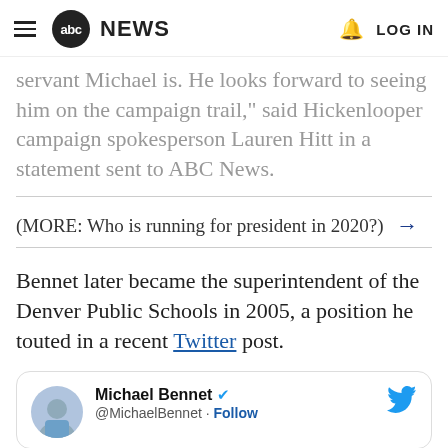abc NEWS  LOG IN
servant Michael is. He looks forward to seeing him on the campaign trail," said Hickenlooper campaign spokesperson Lauren Hitt in a statement sent to ABC News.
(MORE: Who is running for president in 2020?) →
Bennet later became the superintendent of the Denver Public Schools in 2005, a position he touted in a recent Twitter post.
Michael Bennet @MichaelBennet · Follow